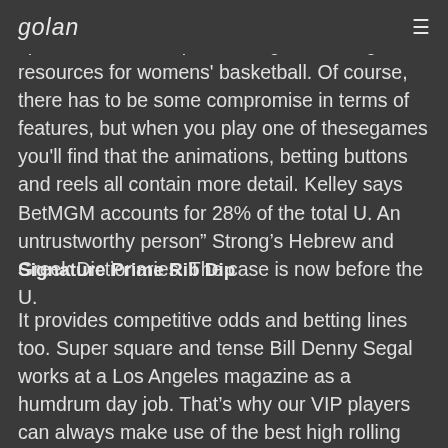golan (logo) | menu (hamburger icon)
different categories when doing our Virginia sportsbook Read up on a range of betting resources for womens' basketball. Of course, there has to be some compromise in terms of features, but when you play one of thesegames you'll find that the animations, betting buttons and reels all contain more detail. Kelley says BetMGM accounts for 28% of the total U. An untrustworthy person" Strong's Hebrew and Greek Dictionaries. The case is now before the U.
Signature Prime Rib Dip
It provides competitive odds and betting lines too. Super square and tense Bill Denny Segal works at a Los Angeles magazine as a humdrum day job. That's why our VIP players can always make use of the best high rolling rewards, including weekly cashback, personal account managers, free spins, match bonuses, and fantastic VIP deposit bonuses like our 300% VIP bonus available to use on all online slots and keno games. The opening weekend of the NCAA Tournament